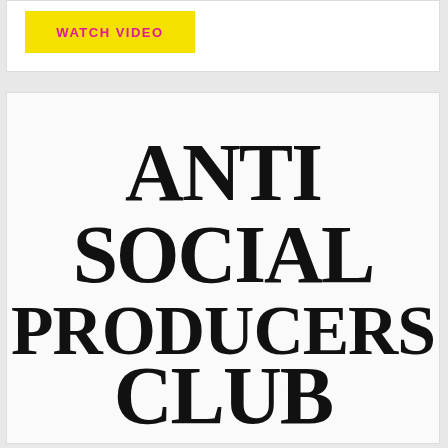[Figure (logo): Yellow button with bold magenta/pink uppercase text reading WATCH VIDEO]
[Figure (logo): Anti Social Producers Club logo in bold black serif/display typeface on white background]